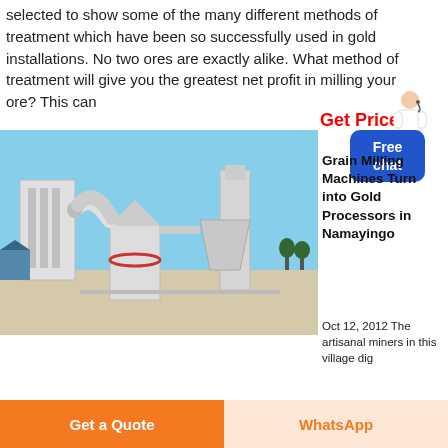selected to show some of the many different methods of treatment which have been so successfully used in gold installations. No two ores are exactly alike. What method of treatment will give you the greatest net profit in milling your ore? This can
Get Price
Free chat
[Figure (photo): Industrial grain milling machine / gold processing equipment photographed outdoors against a blue sky]
Grain Milling Machines Turn into Gold Processors in Namayingo
Oct 12, 2012 The artisanal miners in this village dig
Get a Quote
WhatsApp